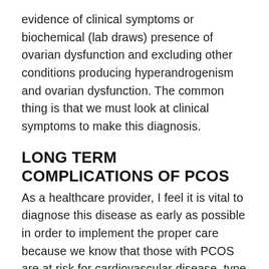evidence of clinical symptoms or biochemical (lab draws) presence of ovarian dysfunction and excluding other conditions producing hyperandrogenism and ovarian dysfunction. The common thing is that we must look at clinical symptoms to make this diagnosis.
LONG TERM COMPLICATIONS OF PCOS
As a healthcare provider, I feel it is vital to diagnose this disease as early as possible in order to implement the proper care because we know that those with PCOS are at risk for cardiovascular disease, type 2 diabetes, hypertension,